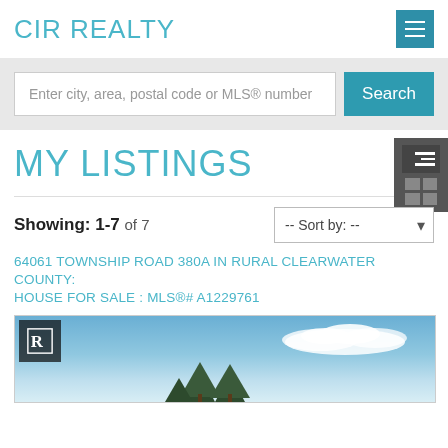CIR REALTY
Enter city, area, postal code or MLS® number
MY LISTINGS
Showing: 1-7 of 7
-- Sort by: --
64061 TOWNSHIP ROAD 380A IN RURAL CLEARWATER COUNTY: HOUSE FOR SALE : MLS®# A1229761
[Figure (photo): Exterior photo of a rural property with trees and blue sky with clouds]